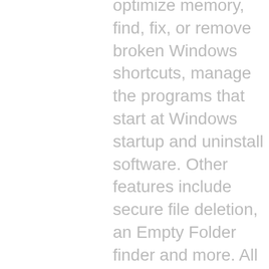optimize memory, find, fix, or remove broken Windows shortcuts, manage the programs that start at Windows startup and uninstall software. Other features include secure file deletion, an Empty Folder finder and more. All Glary Utilities tools can be accessed through an eye-pleasing and totally simplistic interface Antivrius 2008-2009 Removing http://www.bleepingcomputer removal/uninstall-antivirus-2009 • Malwarebytes' Anti-Malware Is the name of the software, just visit web site